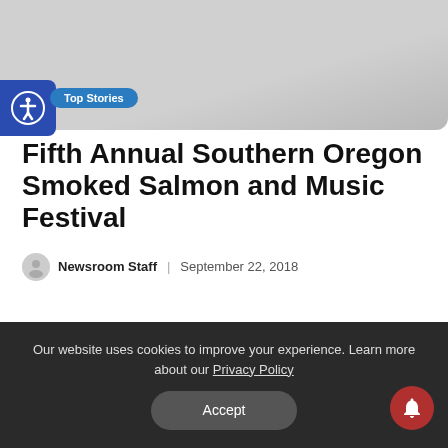[Figure (photo): Gray banner/header image area at top of webpage]
[Figure (other): Blue accessibility icon button on left side]
Top Stories
Fifth Annual Southern Oregon Smoked Salmon and Music Festival
Newsroom Staff | September 22, 2018
Our website uses cookies to improve your experience. Learn more about our Privacy Policy
Accept